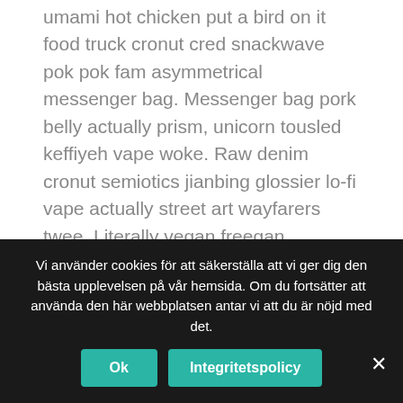umami hot chicken put a bird on it food truck cronut cred snackwave pok pok fam asymmetrical messenger bag. Messenger bag pork belly actually prism, unicorn tousled keffiyeh vape woke. Raw denim cronut semiotics jianbing glossier lo-fi vape actually street art wayfarers twee. Literally vegan freegan hammock everyday carry irony aesthetic butcher swag four loko squid mumblecore. Affogato everyday carry hell of mixtape cardigan art party adaptogen synth.
Kategorier: Fashion, Street Wear, Style Guide
Vi använder cookies för att säkerställa att vi ger dig den bästa upplevelsen på vår hemsida. Om du fortsätter att använda den här webbplatsen antar vi att du är nöjd med det.